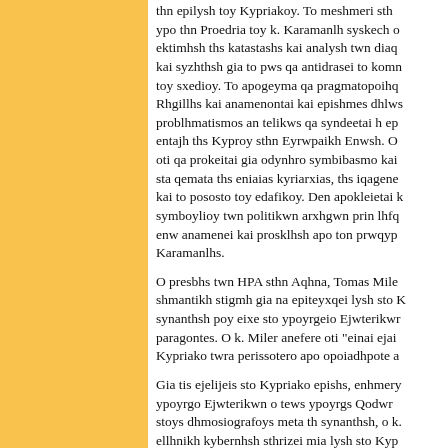thn epilysh toy Kypriakoy. To meshmeri sth ypo thn Proedria toy k. Karamanlh syskech o ektimhsh ths katastashs kai analysh twn diaq kai syzhthsh gia to pws qa antidrasei to komn toy sxedioy. To apogeyma qa pragmatopoihq Rhgillhs kai anamenontai kai epishmes dhlws problhmatismos an telikws qa syndeetai h ep entajh ths Kyproy sthn Eyrwpaikh Enwsh. O oti qa prokeitai gia odynhro symbibasmo kai sta qemata ths eniaias kyriarxias, ths iqagene kai to pososto toy edafikoy. Den apokleietai k symboylioy twn politikwn arxhgwn prin lhfq enw anamenei kai prosklhsh apo ton prwqyp Karamanlhs.
O presbhs twn HPA sthn Aqhna, Tomas Mile shmantikh stigmh gia na epiteyxqei lysh sto K synanthsh poy eixe sto ypoyrgeio Ejwterikwr paragontes. O k. Miler anefere oti "einai ejai Kypriako twra perissotero apo opoiadhpote a
Gia tis ejelijeis sto Kypriako epishs, enhmery ypoyrgo Ejwterikwn o tews ypoyrgs Qodwr stoys dhmosiografoys meta th synanthsh, o k. ellhnikh kybernhsh sthrizei mia lysh sto Kyp arxes kai tis apofaseis twn Hnwmenwn Eqnw